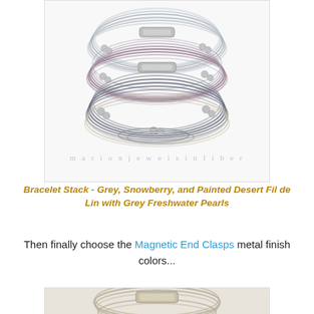[Figure (photo): Stack of multi-strand fiber bracelets in grey, snowberry (mauve/pink), and painted desert colors, with grey freshwater pearl accents and magnetic end clasps. Watermark text reads 'marion jewels in fiber'.]
Bracelet Stack - Grey, Snowberry, and Painted Desert Fil de Lin with Grey Freshwater Pearls
Then finally choose the Magnetic End Clasps metal finish colors...
[Figure (photo): Partial view of bracelet clasp hardware at the bottom of the page.]